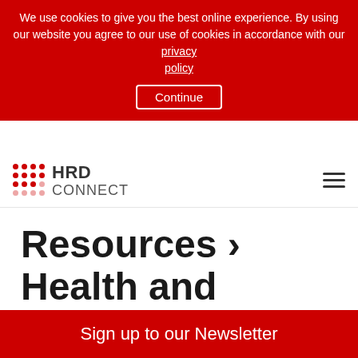We use cookies to give you the best online experience. By using our website you agree to our use of cookies in accordance with our privacy policy  Continue
[Figure (logo): HRD Connect logo with red dot grid and text]
Resources > Health and Wellbeing > Rewards &
Sign up to our Newsletter